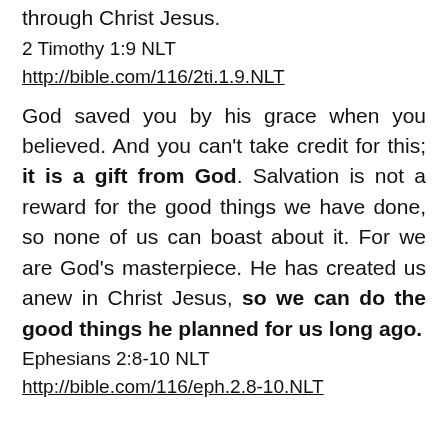through Christ Jesus.
2 Timothy 1:9 NLT
http://bible.com/116/2ti.1.9.NLT
God saved you by his grace when you believed. And you can't take credit for this; it is a gift from God. Salvation is not a reward for the good things we have done, so none of us can boast about it. For we are God’s masterpiece. He has created us anew in Christ Jesus, so we can do the good things he planned for us long ago.
Ephesians 2:8-10 NLT
http://bible.com/116/eph.2.8-10.NLT